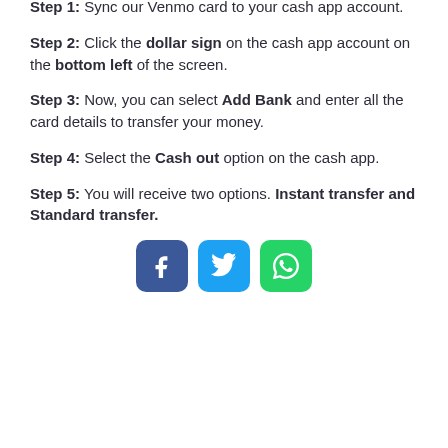Step 1: Sync our Venmo card to your cash app account.
Step 2: Click the dollar sign on the cash app account on the bottom left of the screen.
Step 3: Now, you can select Add Bank and enter all the card details to transfer your money.
Step 4: Select the Cash out option on the cash app.
Step 5: You will receive two options. Instant transfer and Standard transfer.
[Figure (infographic): Social share buttons: Facebook (blue), Twitter (light blue), WhatsApp (green)]